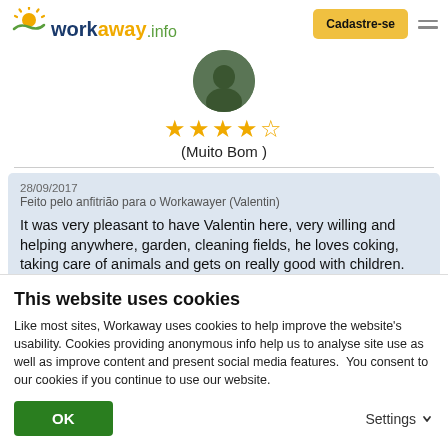workaway.info | Cadastre-se
[Figure (photo): Circular profile photo of a person]
★★★★☆ (Muito Bom )
28/09/2017
Feito pelo anfitrião para o Workawayer (Valentin)

It was very pleasant to have Valentin here, very willing and helping anywhere, garden, cleaning fields, he loves coking, taking care of animals and gets on really good with children.
This website uses cookies
Like most sites, Workaway uses cookies to help improve the website's usability. Cookies providing anonymous info help us to analyse site use as well as improve content and present social media features.  You consent to our cookies if you continue to use our website.
OK | Settings